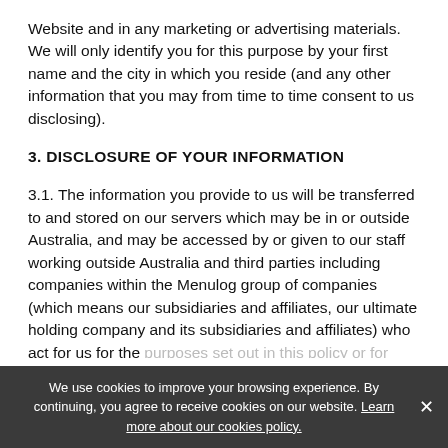Website and in any marketing or advertising materials. We will only identify you for this purpose by your first name and the city in which you reside (and any other information that you may from time to time consent to us disclosing).
3. DISCLOSURE OF YOUR INFORMATION
3.1. The information you provide to us will be transferred to and stored on our servers which may be in or outside Australia, and may be accessed by or given to our staff working outside Australia and third parties including companies within the Menulog group of companies (which means our subsidiaries and affiliates, our ultimate holding company and its subsidiaries and affiliates) who act for us for the purposes set out in this policy or for other purposes...
We use cookies to improve your browsing experience. By continuing, you agree to receive cookies on our website. Learn more about our cookies policy.